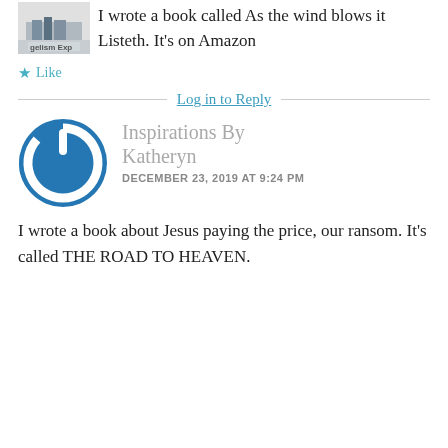[Figure (photo): Cropped avatar image showing partial text 'gelism Exp' on what appears to be a book or banner, partially visible at top of page]
I wrote a book called As the wind blows it Listeth. It's on Amazon
★ Like
Log in to Reply
[Figure (logo): Circular blue power button icon - logo for Inspirations By Katheryn]
Inspirations By Katheryn
DECEMBER 23, 2019 AT 9:24 PM
I wrote a book about Jesus paying the price, our ransom. It's called THE ROAD TO HEAVEN.